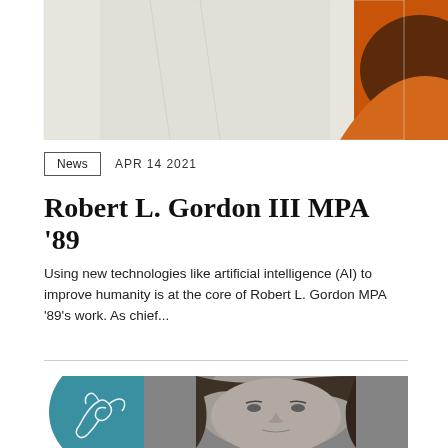[Figure (photo): Top portion showing a person's neck/shirt area with an orange and brown abstract background on the right side.]
News   APR 14 2021
Robert L. Gordon III MPA '89
Using new technologies like artificial intelligence (AI) to improve humanity is at the core of Robert L. Gordon MPA '89's work. As chief...
[Figure (photo): Black and white photo of a woman with dark hair alongside a teal circular logo featuring a bird/phoenix illustration.]